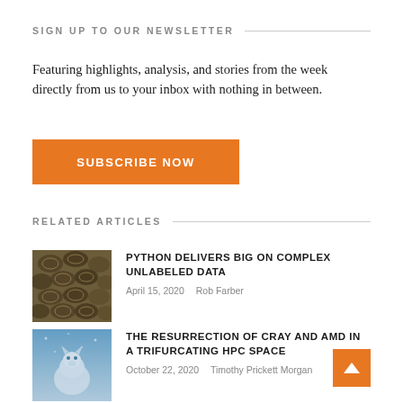SIGN UP TO OUR NEWSLETTER
Featuring highlights, analysis, and stories from the week directly from us to your inbox with nothing in between.
[Figure (other): Orange SUBSCRIBE NOW button]
RELATED ARTICLES
[Figure (photo): Close-up texture photo of a python snake scales pattern]
PYTHON DELIVERS BIG ON COMPLEX UNLABELED DATA
April 15, 2020   Rob Farber
[Figure (photo): Icy blue photo of a white wolf or animal in a winter scene]
THE RESURRECTION OF CRAY AND AMD IN A TRIFURCATING HPC SPACE
October 22, 2020   Timothy Prickett Morgan